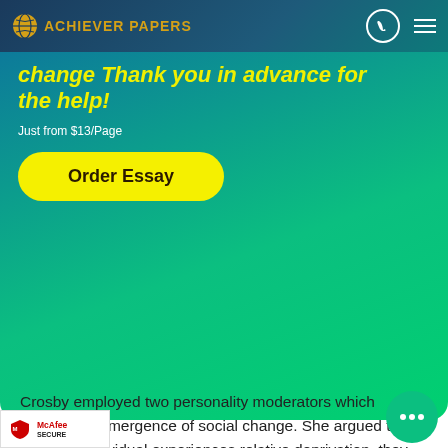ACHIEVER PAPERS
change Thank you in advance for the help!
Just from $13/Page
Order Essay
Crosby employed two personality moderators which explain the emergence of social change. She argued that when an individual experiences relative deprivation, they develop much anger inside them such that they need to purge out the anger. Social change is directly related to personal control. High personal control in attributed to social change as the individual is able to understand the systematic expl... ange and moderate the anger pushing it i... ive). Furthermore, a person with high personal